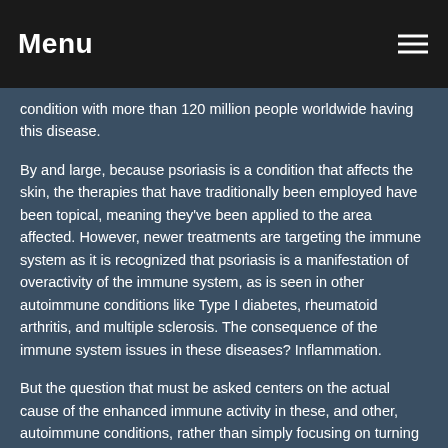Menu
condition with more than 120 million people worldwide having this disease.
By and large, because psoriasis is a condition that affects the skin, the therapies that have traditionally been employed have been topical, meaning they've been applied to the area affected. However, newer treatments are targeting the immune system as it is recognized that psoriasis is a manifestation of overactivity of the immune system, as is seen in other autoimmune conditions like Type I diabetes, rheumatoid arthritis, and multiple sclerosis. The consequence of the immune system issues in these diseases? Inflammation.
But the question that must be asked centers on the actual cause of the enhanced immune activity in these, and other, autoimmune conditions, rather than simply focusing on turning down the immune system. ... Continue Reading